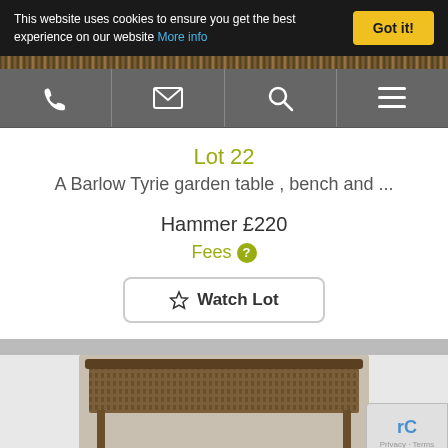This website uses cookies to ensure you get the best experience on our website More info
Phone | Email | Search | Menu navigation bar
Lot 22
A Barlow Tyrie garden table , bench and ...
Hammer £220
Fees
Watch Lot
[Figure (photo): Photo of a Barlow Tyrie garden table item, showing a wooden slatted table top from above]
Filter, Sort & Search